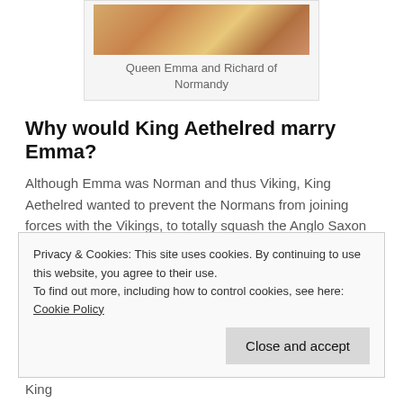[Figure (illustration): Medieval illuminated manuscript illustration of Queen Emma and Richard of Normandy]
Queen Emma and Richard of Normandy
Why would King Aethelred marry Emma?
Although Emma was Norman and thus Viking, King Aethelred wanted to prevent the Normans from joining forces with the Vikings, to totally squash the Anglo Saxon kingdoms. It would have been a possible last desperate move on the part of the Anglo Saxon king. The Normans were busy trading and offering safe harbour to their kin, the Vikings. Emma was meant, in part, to be the peacemaker. Her legacy is however not one of mild
Privacy & Cookies: This site uses cookies. By continuing to use this website, you agree to their use.
To find out more, including how to control cookies, see here: Cookie Policy
again, under heavy Viking attack. Following the victory of King